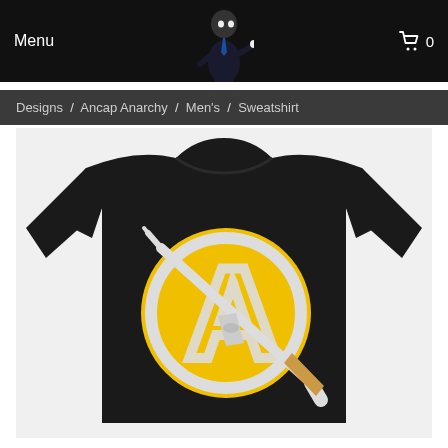Menu  [cart icon] 0
Designs / Ancap Anarchy / Men's / Sweatshirt
[Figure (photo): Black crewneck sweatshirt with Ancap Anarchy logo — a yellow circle with a white anarcho-capitalist 'A' symbol overlaid with a white AK-style rifle silhouette]